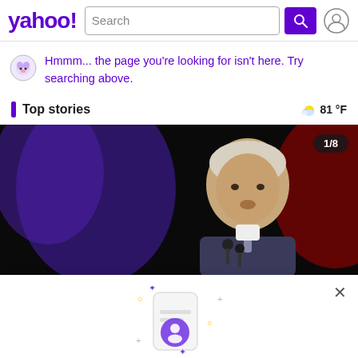yahoo! [Search bar] [Search button] [Profile icon]
Hmmm... the page you're looking for isn't here. Try searching above.
Top stories
81 °F
[Figure (photo): News photo of Joe Biden speaking at a podium with microphones, dark background with blue/red lighting. Badge shows '1/8'.]
Sign in to get more